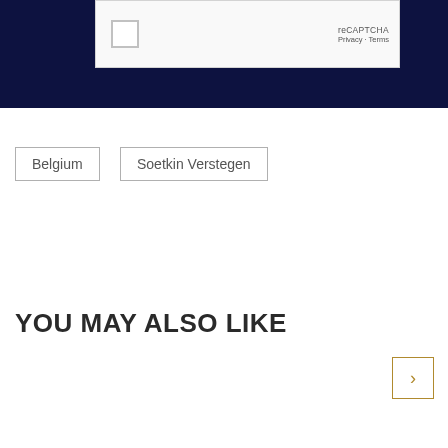[Figure (screenshot): Dark navy blue background section with a reCAPTCHA widget showing a checkbox, reCAPTCHA logo text, Privacy and Terms links]
Belgium
Soetkin Verstegen
YOU MAY ALSO LIKE
[Figure (other): Navigation arrow button with right chevron in gold/yellow border]
[Figure (other): Two partially visible content card thumbnails at the bottom of the page]